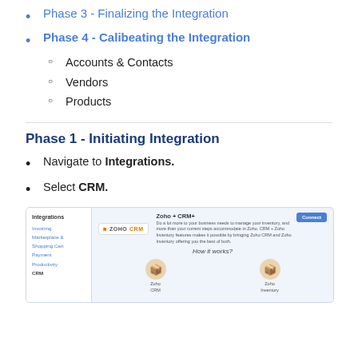Phase 3 - Finalizing the Integration
Phase 4 - Calibrating the Integration
Accounts & Contacts
Vendors
Products
Phase 1 - Initiating Integration
Navigate to Integrations.
Select CRM.
[Figure (screenshot): Screenshot of the Integrations page showing Zoho CRM integration with a Connect button, sidebar with integration categories including CRM, and a 'How it works?' section with icons for Zoho CRM and Zoho Inventory.]